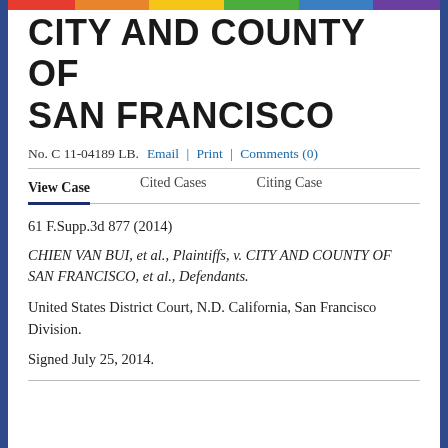CITY AND COUNTY OF SAN FRANCISCO
No. C 11-04189 LB.   Email | Print | Comments (0)
View Case   Cited Cases   Citing Case
61 F.Supp.3d 877 (2014)
CHIEN VAN BUI, et al., Plaintiffs, v. CITY AND COUNTY OF SAN FRANCISCO, et al., Defendants.
United States District Court, N.D. California, San Francisco Division.
Signed July 25, 2014.